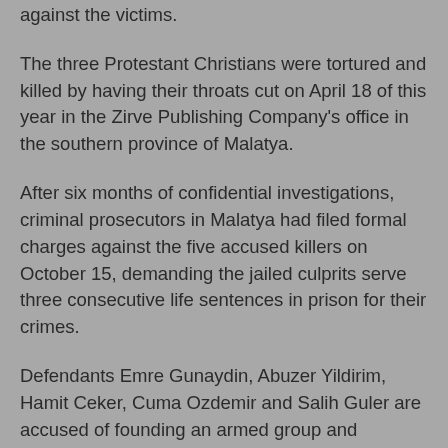against the victims.
The three Protestant Christians were tortured and killed by having their throats cut on April 18 of this year in the Zirve Publishing Company's office in the southern province of Malatya.
After six months of confidential investigations, criminal prosecutors in Malatya had filed formal charges against the five accused killers on October 15, demanding the jailed culprits serve three consecutive life sentences in prison for their crimes.
Defendants Emre Gunaydin, Abuzer Yildirim, Hamit Ceker, Cuma Ozdemir and Salih Guler are accused of founding an armed group and murdering the victims in a deliberate, organized manner. The five killers are 19 and 20 years old.
An additional seven persons have also been charged for allegedly “aiding and abetting” the